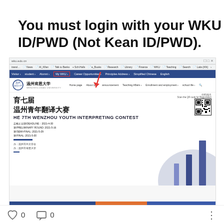You must login with your WKU ID/PWD (Not Kean ID/PWD).
[Figure (screenshot): Screenshot of a university web browser page showing the WKU/Wenzhou-Kean University website with a highlighted navigation menu item 'My WKU' and a red arrow pointing to it. Below is a promotional banner for the 7th Wenzhou Youth Interpreting Contest with dates and QR code.]
0
0